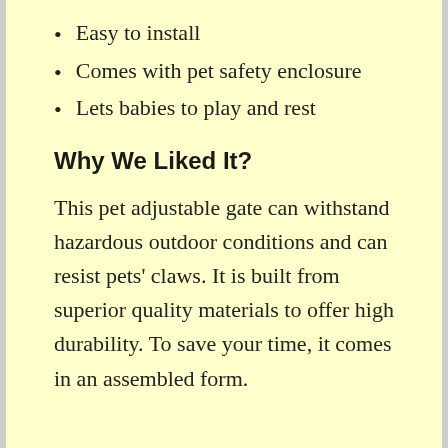Easy to install
Comes with pet safety enclosure
Lets babies to play and rest
Why We Liked It?
This pet adjustable gate can withstand hazardous outdoor conditions and can resist pets' claws. It is built from superior quality materials to offer high durability. To save your time, it comes in an assembled form.